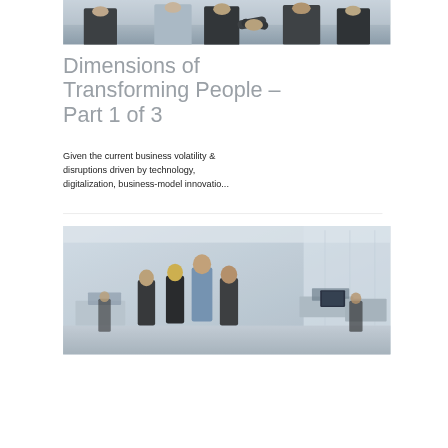[Figure (photo): Business people shaking hands, partial view showing suits and handshake at top of page]
Dimensions of Transforming People – Part 1 of 3
Given the current business volatility & disruptions driven by technology, digitalization, business-model innovatio...
[Figure (photo): Open office space with group of business people standing and having a discussion, modern workplace setting]